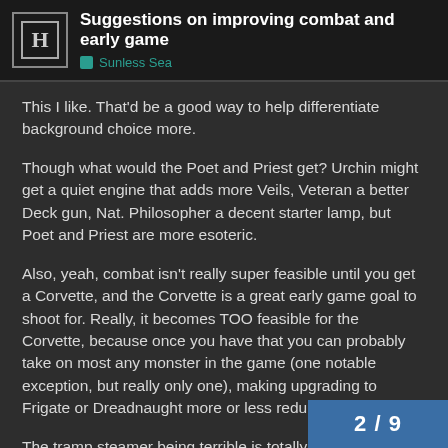Suggestions on improving combat and early game — Sunless Sea
This I like. That'd be a good way to help differentiate background choice more.
Though what would the Poet and Priest get? Urchin might get a quiet engine that adds more Veils, Veteran a better Deck gun, Nat. Philosopher a decent starter lamp, but Poet and Priest are more esoteric.
Also, yeah, combat isn't really super feasible until you get a Corvette, and the Corvette is a great early game goal to shoot for. Really, it becomes TOO feasible for the Corvette, because once you have that you can probably take on most any monster in the game (one notable exception, but really only one), making upgrading to Frigate or Dreadnaught more or less redundant.
The tramp steamer being terrible is totally intentional. The goal is to learn to get around the limitations of the Steamer. When you can do that, you know how to play SS
2 / 9